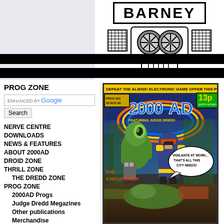[Figure (logo): BARNEY website logo with robot-eye graphic, black bars]
PROG ZONE
[Figure (screenshot): Enhanced by Google search box with Search button]
NERVE CENTRE
DOWNLOADS
NEWS & FEATURES
ABOUT 2000AD
DROID ZONE
THRILL ZONE
THE DREDD ZONE
PROG ZONE
2000AD Progs
Judge Dredd Megazines
Other publications
Merchandise
[Figure (illustration): 2000AD comic cover, Prog 291, 20 Nov 82, 13p, featuring Judge Dredd. Shows alien and armored hero with text 'DEFEAT THE ALIENS! ELECTRONIC GAME OFFER THIS PROG!' and 'VIGILANTE AT WORK... THAT'S ALL THIS CITY NEEDS!' and 'THE EXECUTIONER']